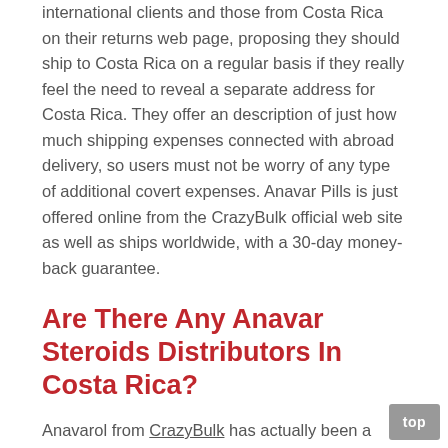international clients and those from Costa Rica on their returns web page, proposing they should ship to Costa Rica on a regular basis if they really feel the need to reveal a separate address for Costa Rica. They offer an description of just how much shipping expenses connected with abroad delivery, so users must not be worry of any type of additional covert expenses. Anavar Pills is just offered online from the CrazyBulk official web site as well as ships worldwide, with a 30-day money-back guarantee.
Are There Any Anavar Steroids Distributors In Costa Rica?
Anavarol from CrazyBulk has actually been a large success globally as well as seems to be preferred in Costa Rica specifically. However online searches do not bring up any kind of outcomes regarding suppliers based